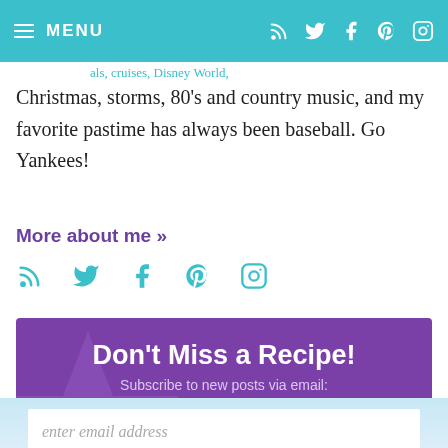MENU
Christmas, storms, 80's and country music, and my favorite pastime has always been baseball. Go Yankees!
More about me »
[Figure (infographic): Purple banner with star decoration reading 'Don't Miss a Recipe! Subscribe to new posts via email:' with an email input field]
enter email address
SIGN ME UP »